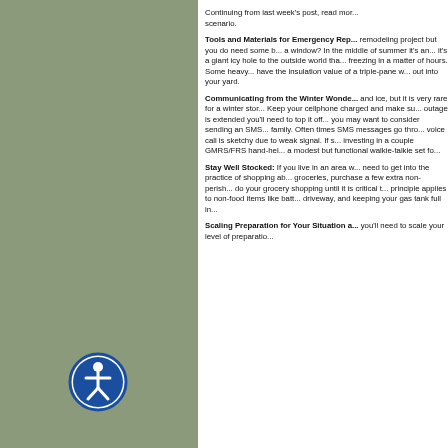Continuing from last week's post, read more about preparing for a winter storm scenario.
Tools and Materials for Emergency Repairs
remodeling project but you do need some basic... a window? In the middle of summer it's an... it's a giant icy hole to the outside world that... freezing in a matter of hours. Some heavy... have the insulation value of a triple-pane w... out into your yard.
Communicating from the Winter Wonde...
and ice, but it is very rare for a winter stor... Keep your cellphone charged and make su... outage is extended you'll need to top it off... you may want to consider sending an SMS... family. Often times SMS messages go thro... voice call is sketchy due to weak signal. If... investing in a couple GMRS/FRS hand-hel... a modest but functional walkie-talkie set fo...
Stay Well Stocked: If you live in an area w... need to get into the practice of shopping ab... groceries, purchase a few extra non-perish... do your grocery shopping until it is critical t... principle applies to non-food items like batt... driveway, and keeping your gas tank full in...
Scaling Preparation for Your Situation a...
you'll need to scale your level of preparatio...